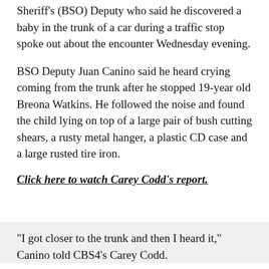Sheriff's (BSO) Deputy who said he discovered a baby in the trunk of a car during a traffic stop spoke out about the encounter Wednesday evening.
BSO Deputy Juan Canino said he heard crying coming from the trunk after he stopped 19-year old Breona Watkins. He followed the noise and found the child lying on top of a large pair of bush cutting shears, a rusty metal hanger, a plastic CD case and a large rusted tire iron.
Click here to watch Carey Codd's report.
"I got closer to the trunk and then I heard it," Canino told CBS4's Carey Codd.